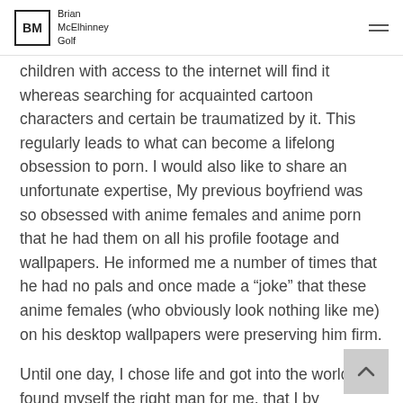Brian McElhinney Golf
children with access to the internet will find it whereas searching for acquainted cartoon characters and certain be traumatized by it. This regularly leads to what can become a lifelong obsession to porn. I would also like to share an unfortunate expertise, My previous boyfriend was so obsessed with anime females and anime porn that he had them on all his profile footage and wallpapers. He informed me a number of times that he had no pals and once made a “joke” that these anime females (who obviously look nothing like me) on his desktop wallpapers were preserving him firm.
Until one day, I chose life and got into the world and found myself the right man for me, that I by